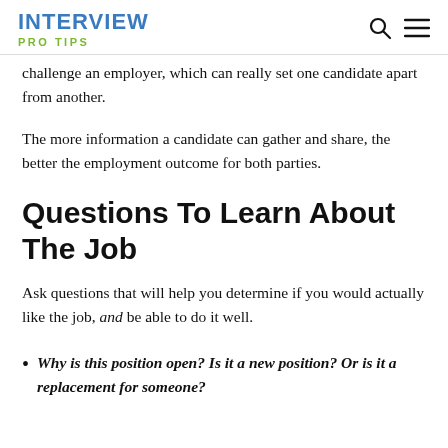INTERVIEW PRO TIPS
challenge an employer, which can really set one candidate apart from another.
The more information a candidate can gather and share, the better the employment outcome for both parties.
Questions To Learn About The Job
Ask questions that will help you determine if you would actually like the job, and be able to do it well.
Why is this position open? Is it a new position? Or is it a replacement for someone?